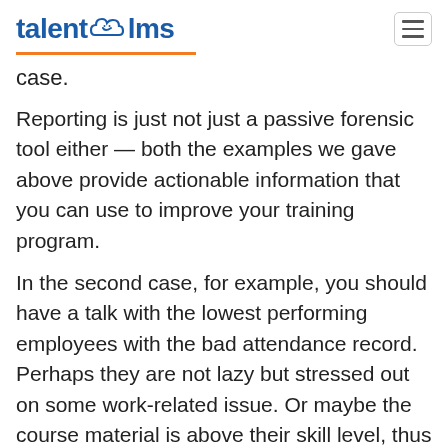talent lms
case.
Reporting is just not just a passive forensic tool either — both the examples we gave above provide actionable information that you can use to improve your training program.
In the second case, for example, you should have a talk with the lowest performing employees with the bad attendance record. Perhaps they are not lazy but stressed out on some work-related issue. Or maybe the course material is above their skill level, thus dispiriting them — and you need to add an easier, introductory